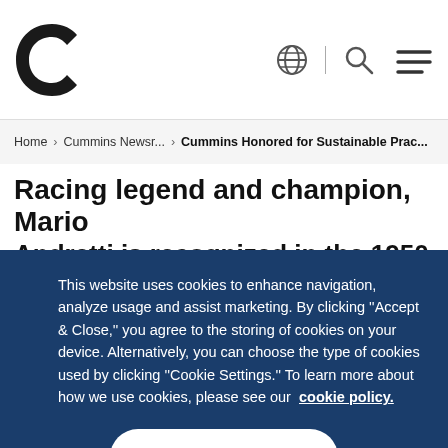[Figure (logo): Cummins logo — black C-shaped mark with white Cummins text]
Home > Cummins Newsr... > Cummins Honored for Sustainable Prac...
Racing legend and champion, Mario Andretti is recognized in the 1950
This website uses cookies to enhance navigation, analyze usage and assist marketing. By clicking ''Accept & Close,'' you agree to the storing of cookies on your device. Alternatively, you can choose the type of cookies used by clicking ''Cookie Settings.'' To learn more about how we use cookies, please see our cookie policy.
Accept & Close
Cookie Settings